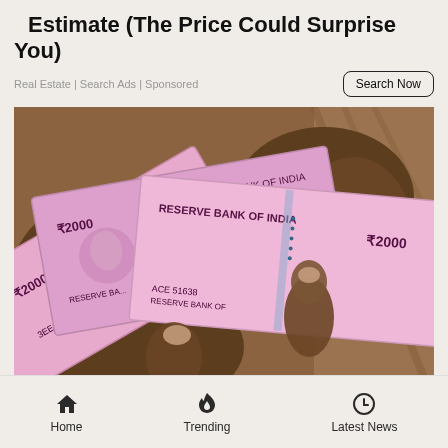Estimate (The Price Could Surprise You)
Real Estate | Search Ads | Sponsored
[Figure (photo): Hands holding multiple Indian ₹2000 Reserve Bank of India currency notes fanned out, showing serial numbers 669509, 516387, 51638]
Home  Trending  Latest News